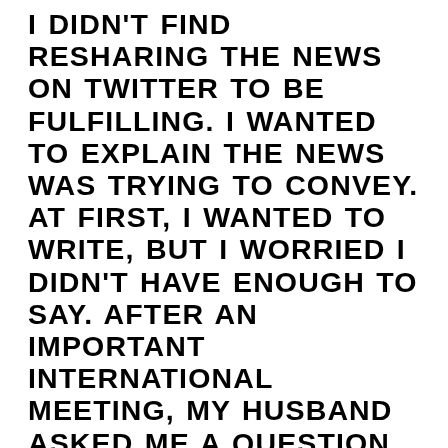I DIDN'T FIND RESHARING THE NEWS ON TWITTER TO BE FULFILLING. I WANTED TO EXPLAIN THE NEWS WAS TRYING TO CONVEY. AT FIRST, I WANTED TO WRITE, BUT I WORRIED I DIDN'T HAVE ENOUGH TO SAY. AFTER AN IMPORTANT INTERNATIONAL MEETING, MY HUSBAND ASKED ME A QUESTION AND I RAMBLED FOR 45 MINUTES. CLEARLY, I HAD A LOT TO SAY.